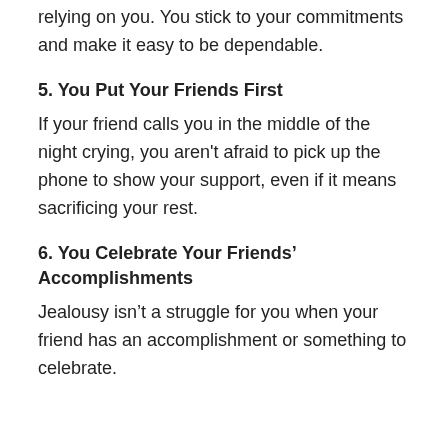relying on you. You stick to your commitments and make it easy to be dependable.
5. You Put Your Friends First
If your friend calls you in the middle of the night crying, you aren't afraid to pick up the phone to show your support, even if it means sacrificing your rest.
6. You Celebrate Your Friends' Accomplishments
Jealousy isn't a struggle for you when your friend has an accomplishment or something to celebrate.
7. Drama is Avoided